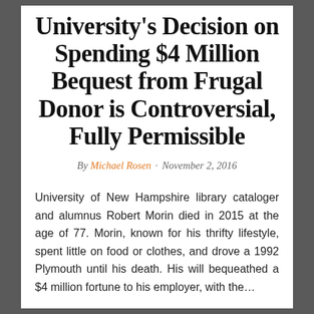University's Decision on Spending $4 Million Bequest from Frugal Donor is Controversial, Fully Permissible
By Michael Rosen · November 2, 2016
University of New Hampshire library cataloger and alumnus Robert Morin died in 2015 at the age of 77. Morin, known for his thrifty lifestyle, spent little on food or clothes, and drove a 1992 Plymouth until his death. His will bequeathed a $4 million fortune to his employer, with the...